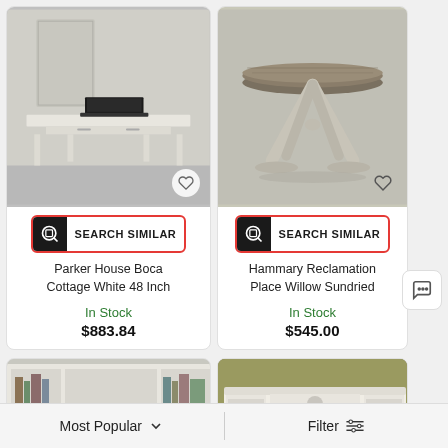[Figure (photo): White writing desk with laptop and drawer, product listing image]
SEARCH SIMILAR
Parker House Boca Cottage White 48 Inch
In Stock
$883.84
[Figure (photo): Round farmhouse dining table with X-base pedestal in willow sundried finish]
SEARCH SIMILAR
Hammary Reclamation Place Willow Sundried
In Stock
$545.00
[Figure (photo): White bookcase entertainment center with TV space — partially visible]
[Figure (photo): White entertainment center with TV and shelving in room setting — partially visible]
Most Popular
Filter